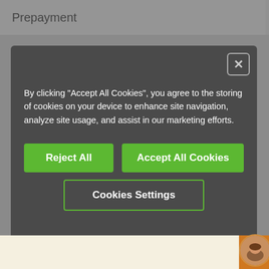| Prepayment |
| --- |
By clicking "Accept All Cookies", you agree to the storing of cookies on your device to enhance site navigation, analyze site usage, and assist in our marketing efforts.
Reject All
Accept All Cookies
Cookies Settings
The igus® promise of quality
Consultation & support
+49-2203-9649-8201
Contact form
Other contact possibilities
Chat Now